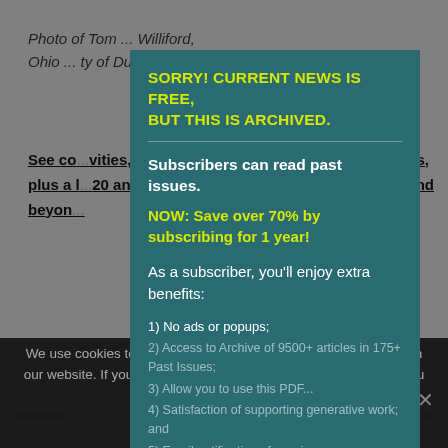Photo of Tom ... Willilford ... Ohio ... ty of Ducks U...
See co...vities, plus a l...20 and beyon...
[Figure (screenshot): Modal dialog overlay on a news website with teal/dark-green background showing subscription prompt. Title: 'SORRY! CURRENT NEWS IS FREE, BUT THIS IS ARCHIVED.' with subscriber benefits listed including 'NOW: Save over 70% by subscribing for 1 year!']
SORRY!  CURRENT NEWS IS FREE, BUT THIS IS ARCHIVED.
Subscribers can read past issues.
NOW: Save over 70% by subscribing for 1 year!
As a subscriber, you'll enjoy extra benefits:
1) No ads or popups;
2) Access to Archive of 9500+ articles in 175+ Past Issues;
3) Allow you to use this PDF...
4) Satisfaction of supporting generative work; and
5) Email notification of new issues (2X/month). And More!
We use cookies to ensure that we give you the best experience on our website. If you continue to use this site we will assume that you are happy with it.
Ok